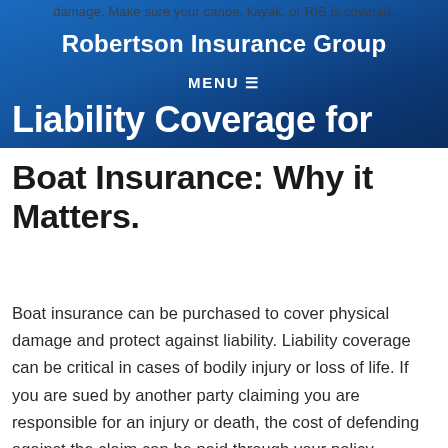damage. Make sure your canoe, kayak, or RIB is covered.
Robertson Insurance Group
MENU ≡
Liability Coverage for Boat Insurance: Why it Matters.
Boat insurance can be purchased to cover physical damage and protect against liability. Liability coverage can be critical in cases of bodily injury or loss of life. If you are sued by another party claiming you are responsible for an injury or death, the cost of defending against the claim can be paid through your policy.